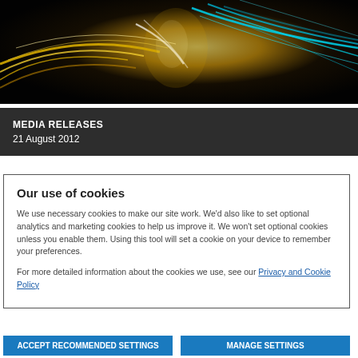[Figure (photo): Abstract photo of fiber optic cables with yellow, white, and teal/cyan light streaks on dark background]
MEDIA RELEASES
21 August 2012
Our use of cookies
We use necessary cookies to make our site work. We'd also like to set optional analytics and marketing cookies to help us improve it. We won't set optional cookies unless you enable them. Using this tool will set a cookie on your device to remember your preferences.
For more detailed information about the cookies we use, see our Privacy and Cookie Policy